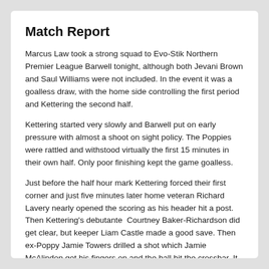Match Report
Marcus Law took a strong squad to Evo-Stik Northern Premier League Barwell tonight, although both Jevani Brown and Saul Williams were not included. In the event it was a goalless draw, with the home side controlling the first period and Kettering the second half.
Kettering started very slowly and Barwell put on early pressure with almost a shoot on sight policy. The Poppies were rattled and withstood virtually the first 15 minutes in their own half. Only poor finishing kept the game goalless.
Just before the half hour mark Kettering forced their first corner and just five minutes later home veteran Richard Lavery nearly opened the scoring as his header hit a post. Then Kettering's debutante  Courtney Baker-Richardson did get clear, but keeper Liam Castle made a good save. Then ex-Poppy Jamie Towers drilled a shot which Jamie McAlindon got his fingers on and the ball hit the crossbar. It was a good save. The young keeper then had to save low down from Anthony Carney.